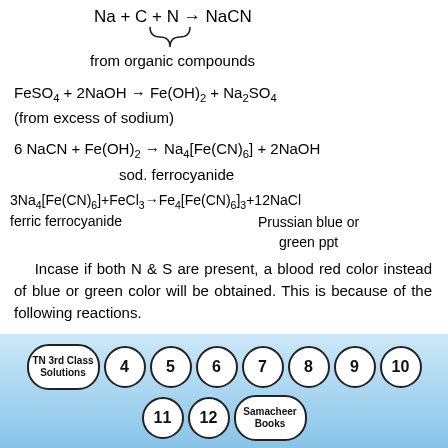ferric ferrocyanide
Prussian blue or green ppt
Incase if both N & S are present, a blood red color instead of blue or green color will be obtained. This is because of the following reactions.
Heat
[Figure (other): Navigation bar with page buttons: TN 3rd Class Solutions, 4, 5, 6, 7, 8, 9, 10, 11, 12, Samacheer Books]